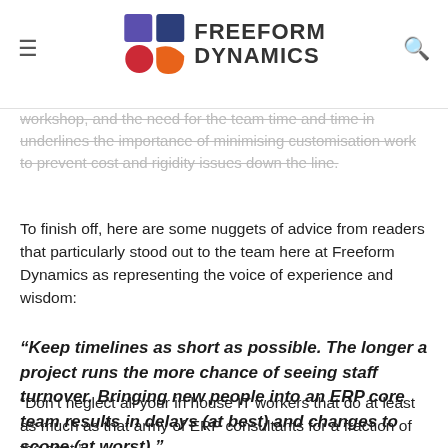Freeform Dynamics
workshop, and the need for the team time and time in underlines the importance of minimising customisation work to prevent cost and rigidity issues down the line.
To finish off, here are some nuggets of advice from readers that particularly stood out to the team here at Freeform Dynamics as representing the voice of experience and wisdom:
“Keep timelines as short as possible. The longer a project runs the more chance of seeing staff turnover. Bringing new people into an ERP core team results in delays (at best) and changes to scope (at worst).”
“Don’t neglect all your in house IT workers that do at least as much as that army of ERP consultants for a fraction of the cost.”